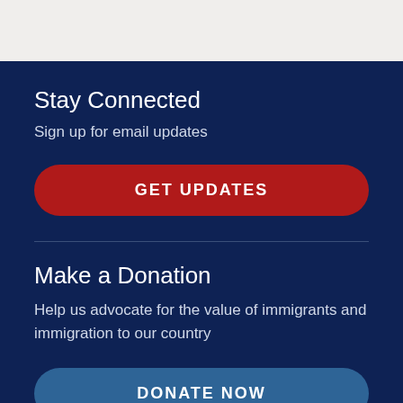Stay Connected
Sign up for email updates
GET UPDATES
Make a Donation
Help us advocate for the value of immigrants and immigration to our country
DONATE NOW